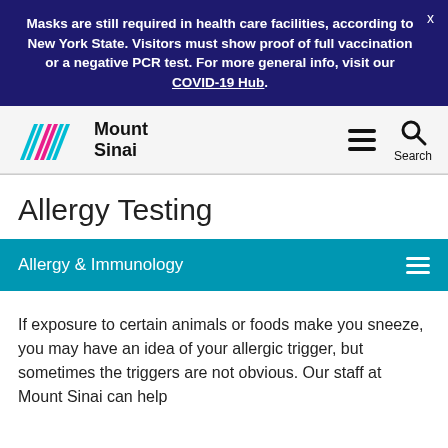Masks are still required in health care facilities, according to New York State. Visitors must show proof of full vaccination or a negative PCR test. For more general info, visit our COVID-19 Hub.
[Figure (logo): Mount Sinai logo with colorful mountain chevron marks and text 'Mount Sinai']
Allergy Testing
Allergy & Immunology
If exposure to certain animals or foods make you sneeze, you may have an idea of your allergic trigger, but sometimes the triggers are not obvious. Our staff at Mount Sinai can help